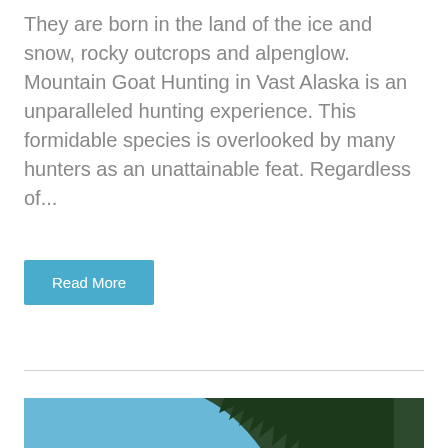They are born in the land of the ice and snow, rocky outcrops and alpenglow. Mountain Goat Hunting in Vast Alaska is an unparalleled hunting experience. This formidable species is overlooked by many hunters as an unattainable feat. Regardless of...
Read More
[Figure (photo): A man in camouflage clothing sitting on rocky terrain high on a cliff, with dense green conifer forest and a dramatic blue ocean coastline visible in the background below.]